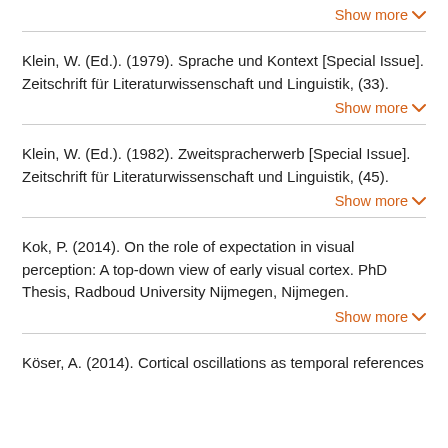Show more
Klein, W. (Ed.). (1979). Sprache und Kontext [Special Issue]. Zeitschrift für Literaturwissenschaft und Linguistik, (33).
Show more
Klein, W. (Ed.). (1982). Zweitspracherwerb [Special Issue]. Zeitschrift für Literaturwissenschaft und Linguistik, (45).
Show more
Kok, P. (2014). On the role of expectation in visual perception: A top-down view of early visual cortex. PhD Thesis, Radboud University Nijmegen, Nijmegen.
Show more
Köser, A. (2014). Cortical oscillations as temporal references...